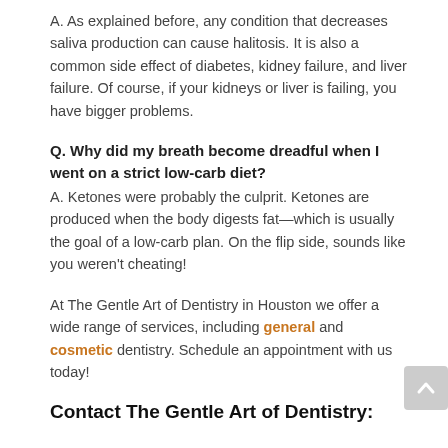A. As explained before, any condition that decreases saliva production can cause halitosis. It is also a common side effect of diabetes, kidney failure, and liver failure. Of course, if your kidneys or liver is failing, you have bigger problems.
Q. Why did my breath become dreadful when I went on a strict low-carb diet?
A. Ketones were probably the culprit. Ketones are produced when the body digests fat—which is usually the goal of a low-carb plan. On the flip side, sounds like you weren't cheating!
At The Gentle Art of Dentistry in Houston we offer a wide range of services, including general and cosmetic dentistry. Schedule an appointment with us today!
Contact The Gentle Art of Dentistry: